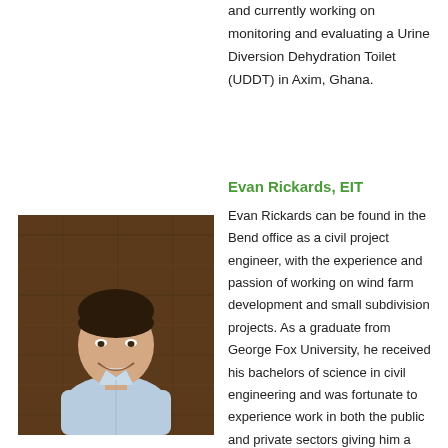and currently working on monitoring and evaluating a Urine Diversion Dehydration Toilet (UDDT) in Axim, Ghana.
Evan Rickards, EIT
[Figure (photo): Professional headshot of Evan Rickards, a young man in a light blue dress shirt, smiling, against a wooden background.]
Evan Rickards can be found in the Bend office as a civil project engineer, with the experience and passion of working on wind farm development and small subdivision projects. As a graduate from George Fox University, he received his bachelors of science in civil engineering and was fortunate to experience work in both the public and private sectors giving him a unique perspective and insight into public projects. Having the opportunity to work on